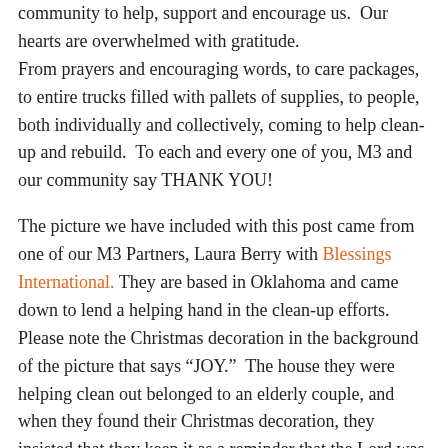community to help, support and encourage us.  Our hearts are overwhelmed with gratitude. From prayers and encouraging words, to care packages, to entire trucks filled with pallets of supplies, to people, both individually and collectively, coming to help clean-up and rebuild.  To each and every one of you, M3 and our community say THANK YOU!
The picture we have included with this post came from one of our M3 Partners, Laura Berry with Blessings International. They are based in Oklahoma and came down to lend a helping hand in the clean-up efforts.  Please note the Christmas decoration in the background of the picture that says "JOY."  The house they were helping clean out belonged to an elderly couple, and when they found their Christmas decoration, they insisted that they keep it as a reminder that the Lord was there with them; He did